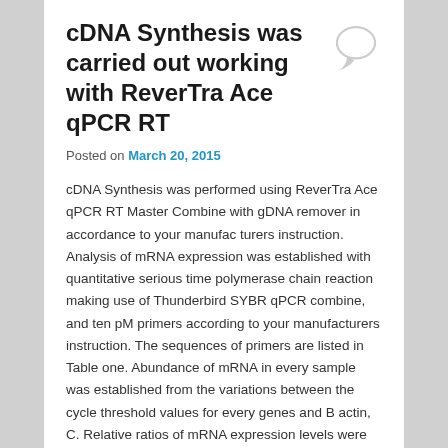cDNA Synthesis was carried out working with ReverTra Ace qPCR RT
Posted on March 20, 2015
cDNA Synthesis was performed using ReverTra Ace qPCR RT Master Combine with gDNA remover in accordance to your manufac turers instruction. Analysis of mRNA expression was established with quantitative serious time polymerase chain reaction making use of Thunderbird SYBR qPCR combine, and ten pM primers according to your manufacturers instruction. The sequences of primers are listed in Table one. Abundance of mRNA in every sample was established from the variations between the cycle threshold values for every genes and B actin, C. Relative ratios of mRNA expression levels were de fined as 2C, wherever C C sample C control, which reflect modifications of mRNA expression